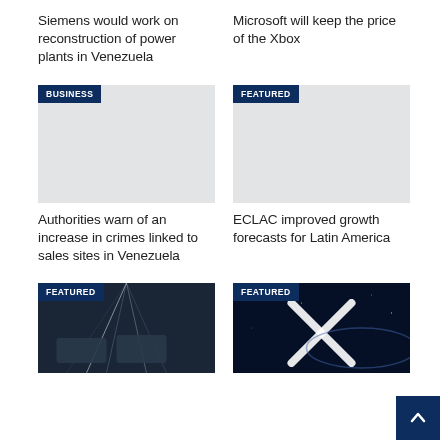Siemens would work on reconstruction of power plants in Venezuela
Microsoft will keep the price of the Xbox
[Figure (photo): Gray placeholder image with BUSINESS badge]
[Figure (photo): Gray placeholder image with FEATURED badge]
Authorities warn of an increase in crimes linked to sales sites in Venezuela
ECLAC improved growth forecasts for Latin America
[Figure (photo): Factory/industrial hall with cars and bright lights, FEATURED badge]
[Figure (photo): Starlink logo on dark space background, FEATURED badge]